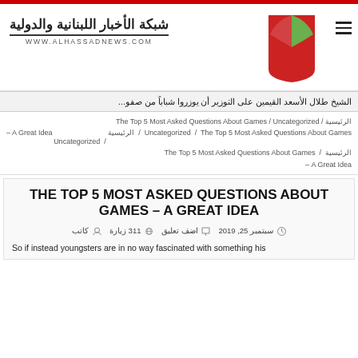[Figure (logo): Al Hassad News logo with Arabic text and red/green leaf icon]
الشيخ طلال الأسعد القيمين على التوزير أن يوزروا شباباً من صفو...
الرئيسية / The Top 5 Most Asked Questions About Games / Uncategorized – A Great Idea
THE TOP 5 MOST ASKED QUESTIONS ABOUT GAMES – A GREAT IDEA
كاتب   سبتمبر 25, 2019   اضف تعليق   311 زيارة
So if instead youngsters are in no way fascinated with something his